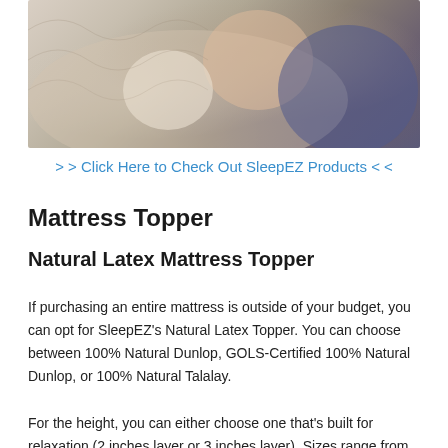[Figure (photo): Baby sleeping with a stuffed animal toy on a patterned blanket, wearing a blue outfit]
> > Click Here to Check Out SleepEZ Products < <
Mattress Topper
Natural Latex Mattress Topper
If purchasing an entire mattress is outside of your budget, you can opt for SleepEZ's Natural Latex Topper. You can choose between 100% Natural Dunlop, GOLS-Certified 100% Natural Dunlop, or 100% Natural Talalay.
For the height, you can either choose one that's built for relaxation (2 inches layer or 3 inches layer). Sizes range from Twin to